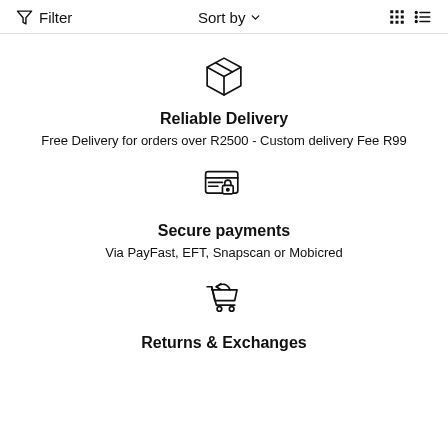Filter   Sort by   [grid view] [list view]
[Figure (illustration): Box/package icon representing delivery]
Reliable Delivery
Free Delivery for orders over R2500 - Custom delivery Fee R99
[Figure (illustration): Secure card/lock icon representing payments]
Secure payments
Via PayFast, EFT, Snapscan or Mobicred
[Figure (illustration): Shopping cart with return arrow icon]
Returns & Exchanges